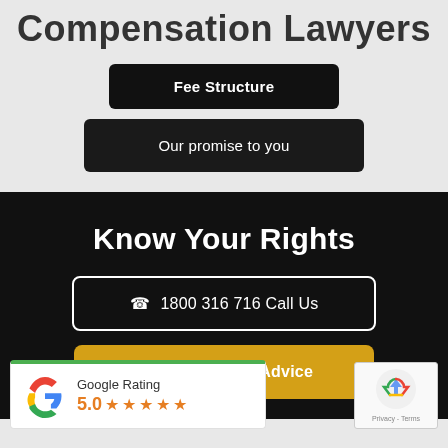Compensation Lawyers
Fee Structure
Our promise to you
Know Your Rights
☎ 1800 316 716 Call Us
Obligation Free Advice
[Figure (logo): Google Rating widget showing 5.0 stars with Google G logo and green top border]
[Figure (logo): reCAPTCHA badge with recycling arrow logo and Privacy - Terms text]
Blog   Terms   VBR Lawyers Privacy Policy   Contact